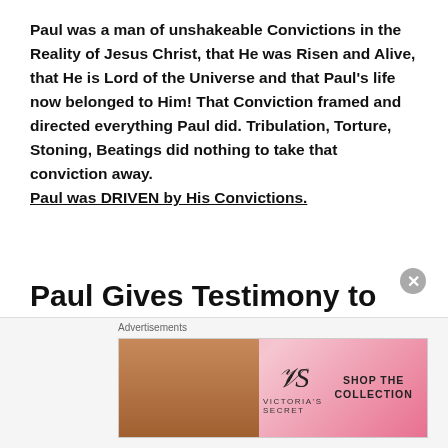Paul was a man of unshakeable Convictions in the Reality of Jesus Christ, that He was Risen and Alive, that He is Lord of the Universe and that Paul's life now belonged to Him! That Conviction framed and directed everything Paul did. Tribulation, Torture, Stoning, Beatings did nothing to take that conviction away. Paul was DRIVEN by His Convictions.
Paul Gives Testimony to His Convictions
[Figure (other): Advertisement banner for Victoria's Secret showing a woman, the VS logo, 'SHOP THE COLLECTION' text, and a 'SHOP NOW' button]